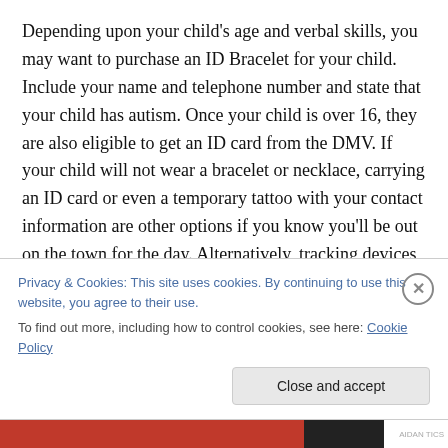Depending upon your child's age and verbal skills, you may want to purchase an ID Bracelet for your child. Include your name and telephone number and state that your child has autism. Once your child is over 16, they are also eligible to get an ID card from the DMV. If your child will not wear a bracelet or necklace, carrying an ID card or even a temporary tattoo with your contact information are other options if you know you'll be out on the town for the day. Alternatively, tracking devices are available to place in your child's pocket or backpack. It works with your
Privacy & Cookies: This site uses cookies. By continuing to use this website, you agree to their use.
To find out more, including how to control cookies, see here: Cookie Policy